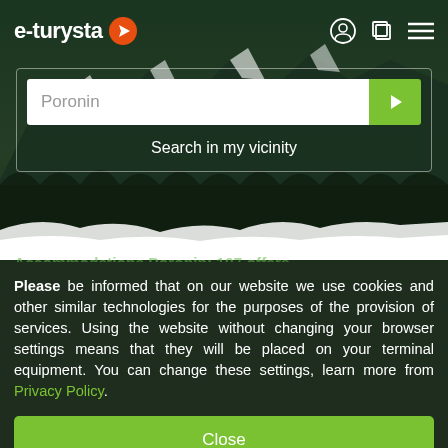e-turysta
[Figure (screenshot): e-turysta travel website screenshot showing search interface with mountain background, search box with 'Poronin' text, 'Search in my vicinity' link, and a cookie consent overlay]
Poronin
Search in my vicinity
Accommodations Poronin: 107 offers
Please be informed that on our website we use cookies and other similar technologies for the purposes of the provision of services. Using the website without changing your browser settings means that they will be placed on your terminal equipment. You can change these settings, learn more from Privacy Policy.
Close